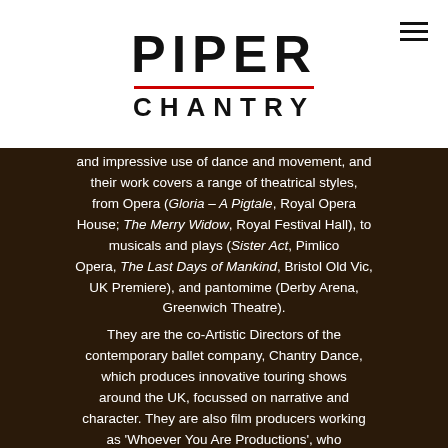PIPER CHANTRY
and impressive use of dance and movement, and their work covers a range of theatrical styles, from Opera (Gloria – A Pigtale, Royal Opera House; The Merry Widow, Royal Festival Hall), to musicals and plays (Sister Act, Pimlico Opera, The Last Days of Mankind, Bristol Old Vic, UK Premiere), and pantomime (Derby Arena, Greenwich Theatre). They are the co-Artistic Directors of the contemporary ballet company, Chantry Dance, which produces innovative touring shows around the UK, focussed on narrative and character. They are also film producers working as 'Whoever You Are Productions', who